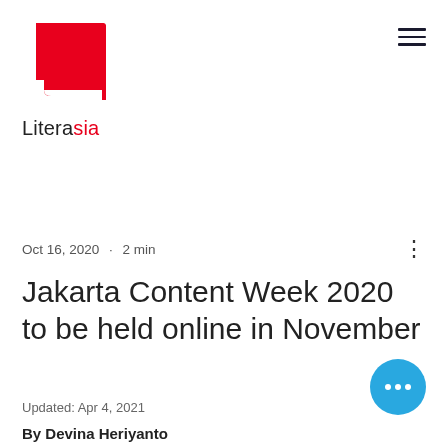[Figure (logo): Literasia logo: red square book icon with white page curl, with text 'Litera' in black and 'sia' in red below]
Oct 16, 2020 · 2 min
Jakarta Content Week 2020 to be held online in November
Updated: Apr 4, 2021
By Devina Heriyanto